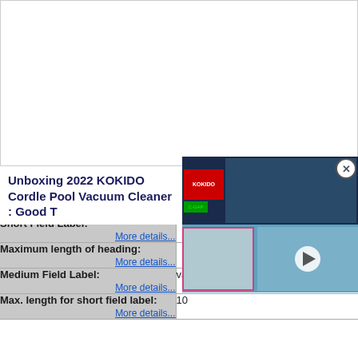[Figure (screenshot): Blank white advertisement or content area at top of page]
[Figure (screenshot): Video popup overlay showing KOKIDO pool vacuum cleaner unboxing video thumbnail with play button, red brand logo thumbnail on dark background (top), and pool vacuum part photos on blue background (bottom). Close button (X in circle) in top right corner.]
Unboxing 2022 KOKIDO Cordle Pool Vacuum Cleaner : Good T
| Field Label | Value |
| --- | --- |
| Short Field Label: More details... |  |
| Maximum length of heading: More details... |  |
| Medium Field Label: More details... | variable Data |
| Max. length for short field label: More details... | 10 |